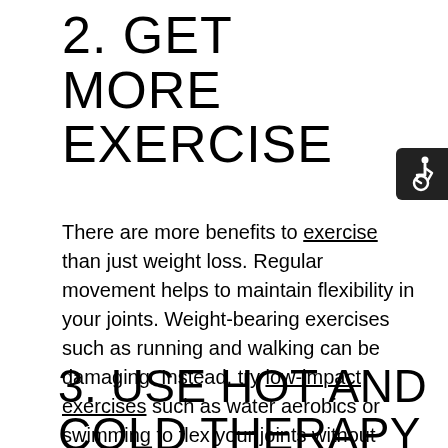2. GET MORE EXERCISE
[Figure (illustration): Accessibility icon — white wheelchair user symbol on black rounded rectangle background]
There are more benefits to exercise than just weight loss. Regular movement helps to maintain flexibility in your joints. Weight-bearing exercises such as running and walking can be damaging. Instead, try low-impact exercises such as water aerobics or swimming to flex your joints without adding further stress.
3. USE HOT AND COLD THERAPY